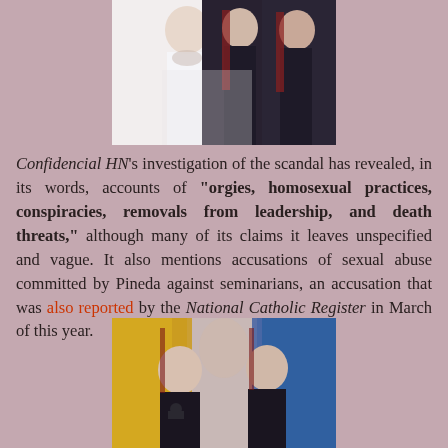[Figure (photo): Photo of religious figures in dark robes, possibly clergy, interacting with someone in white clothing]
Confidencial HN's investigation of the scandal has revealed, in its words, accounts of "orgies, homosexual practices, conspiracies, removals from leadership, and death threats," although many of its claims it leaves unspecified and vague. It also mentions accusations of sexual abuse committed by Pineda against seminarians, an accusation that was also reported by the National Catholic Register in March of this year.
[Figure (photo): Photo of two men in clerical black robes seated at a table, with yellow and blue fabric backdrop and an image of the Virgin Mary in the background]